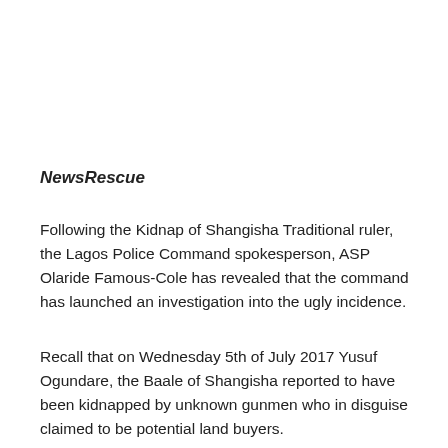NewsRescue
Following the Kidnap of Shangisha Traditional ruler, the Lagos Police Command spokesperson, ASP Olaride Famous-Cole has revealed that the command has launched an investigation into the ugly incidence.
Recall that on Wednesday 5th of July 2017 Yusuf Ogundare, the Baale of Shangisha reported to have been kidnapped by unknown gunmen who in disguise claimed to be potential land buyers.
According the Baale's brother Mohammed Adams, Baale